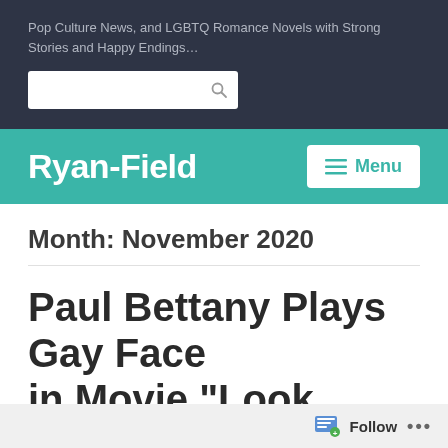Pop Culture News, and LGBTQ Romance Novels with Strong Stories and Happy Endings...
Ryan-Field
Month: November 2020
Paul Bettany Plays Gay Face in Movie "Look Foundl" R...